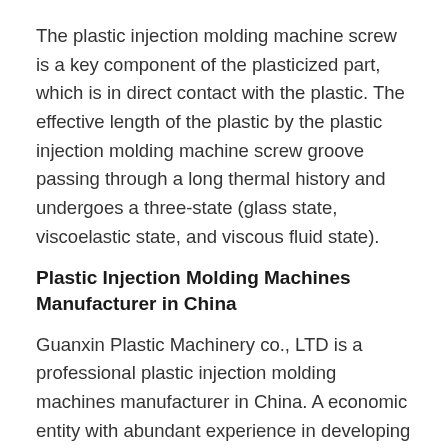The plastic injection molding machine screw is a key component of the plasticized part, which is in direct contact with the plastic. The effective length of the plastic by the plastic injection molding machine screw groove passing through a long thermal history and undergoes a three-state (glass state, viscoelastic state, and viscous fluid state).
Plastic Injection Molding Machines Manufacturer in China
Guanxin Plastic Machinery co., LTD is a professional plastic injection molding machines manufacturer in China. A economic entity with abundant experience in developing and manufacturing plastic injection molding machines. Our engineers are have more than 15 years experience in the plastic molding machines industry. Guanxin had developed many ...